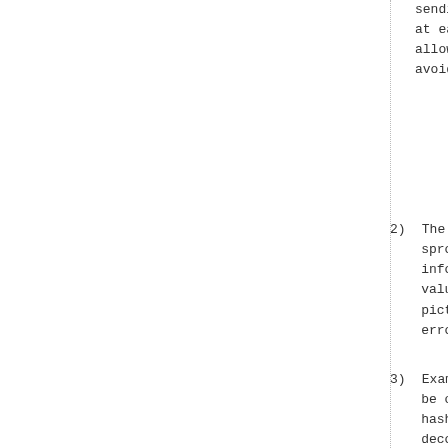sending the at each ent allows one avoiding un
2) The structu sprop-sei o information values, and pictures. error recov
3) Examples fo be conveyed hash SEI me decoded pic orientation device (as handheld de payload SEI having more